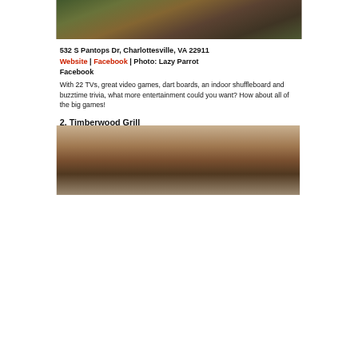[Figure (photo): Top portion of a photo showing people inside what appears to be a bar or restaurant with colorful decor]
532 S Pantops Dr, Charlottesville, VA 22911
Website | Facebook | Photo: Lazy Parrot Facebook
With 22 TVs, great video games, dart boards, an indoor shuffleboard and buzztime trivia, what more entertainment could you want? How about all of the big games!
2. Timberwood Grill
[Figure (photo): Photo of what appears to be decorative duck or bird figurines/tap handles against a brick wall background]